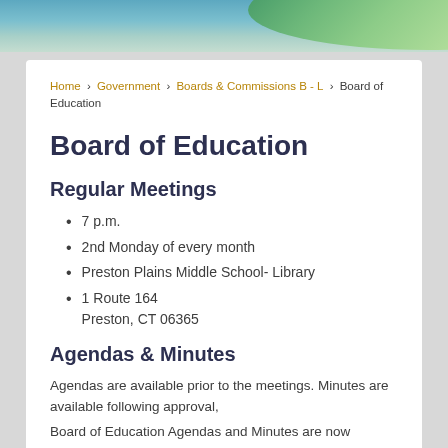[Figure (photo): Header image with blue water/sky background and green plant elements on the right side]
Home › Government › Boards & Commissions B - L › Board of Education
Board of Education
Regular Meetings
7 p.m.
2nd Monday of every month
Preston Plains Middle School- Library
1 Route 164
Preston, CT 06365
Agendas & Minutes
Agendas are available prior to the meetings. Minutes are available following approval,
Board of Education Agendas and Minutes are now